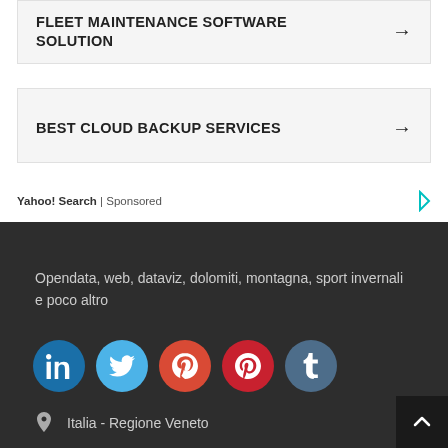FLEET MAINTENANCE SOFTWARE SOLUTION →
BEST CLOUD BACKUP SERVICES →
Yahoo! Search | Sponsored
Opendata, web, dataviz, dolomiti, montagna, sport invernali e poco altro
[Figure (other): Social media icons: LinkedIn, Twitter, Google+, Pinterest, Tumblr]
Italia - Regione Veneto